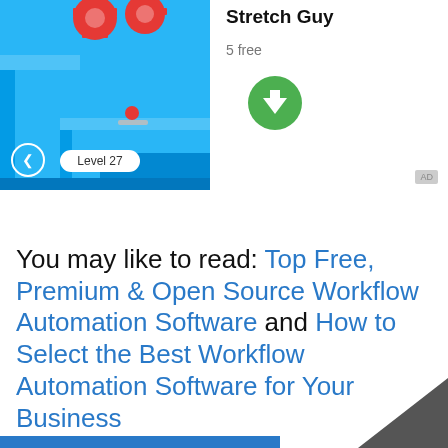[Figure (screenshot): Mobile game screenshot showing 'Stretch Guy' game at Level 27, with blue 3D platform environment and a red ball character]
Stretch Guy
5 free
[Figure (other): Green circular download button with white downward arrow]
AD badge indicator in gray
You may like to read: Top Free, Premium & Open Source Workflow Automation Software and How to Select the Best Workflow Automation Software for Your Business